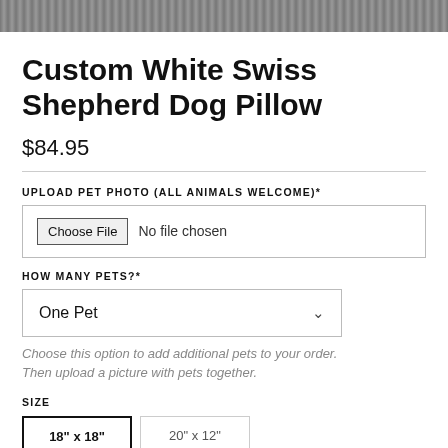[Figure (photo): Top edge of a product photo showing a patterned textile or pillow surface, cropped at the top of the page]
Custom White Swiss Shepherd Dog Pillow
$84.95
UPLOAD PET PHOTO (ALL ANIMALS WELCOME)*
[Figure (other): File upload input field showing a 'Choose File' button and 'No file chosen' text]
HOW MANY PETS?*
[Figure (other): Dropdown selector showing 'One Pet' with a chevron/arrow icon]
Choose this option to add additional pets to your order. Then upload a picture with pets together.
SIZE
[Figure (other): Size selection buttons showing '18" x 18"' (selected, bold border) and '20" x 12"' (unselected)]